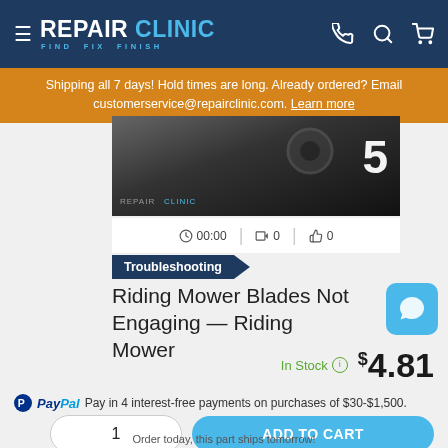REPAIR CLINIC — FIND. FIX. FINISH.
Shipping all 7 days! Hold times are long. Already ordered? Email customerservice@repairclinic.com. Learn more
[Figure (screenshot): Video thumbnail showing a number 5 with REPAIR CLINIC watermark on dark background]
00:00   0   0
Troubleshooting
Riding Mower Blades Not Engaging — Riding Mower
In Stock  $4.81
PayPal Pay in 4 interest-free payments on purchases of $30-$1,500.
Order today, this part ships tomorrow!